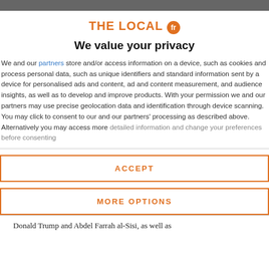[Figure (logo): The Local fr logo — orange text and orange circle with 'fr']
We value your privacy
We and our partners store and/or access information on a device, such as cookies and process personal data, such as unique identifiers and standard information sent by a device for personalised ads and content, ad and content measurement, and audience insights, as well as to develop and improve products. With your permission we and our partners may use precise geolocation data and identification through device scanning. You may click to consent to our and our partners' processing as described above. Alternatively you may access more detailed information and change your preferences before consenting
ACCEPT
MORE OPTIONS
Donald Trump and Abdel Farrah al-Sisi, as well as